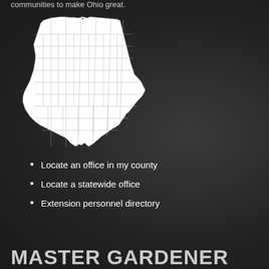communities to make Ohio great.
[Figure (map): White outline map of Ohio state showing county boundaries on dark background]
Locate an office in my county
Locate a statewide office
Extension personnel directory
MASTER GARDENER